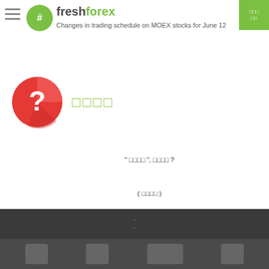freshforex — Changes in trading schedule on MOEX stocks for June 12
[Figure (illustration): Red circle icon with white question mark]
□□□□
" □□□□ ", □□□□ ?
( □□□□ )
" □□□□ ", □□□□ ?
· ·